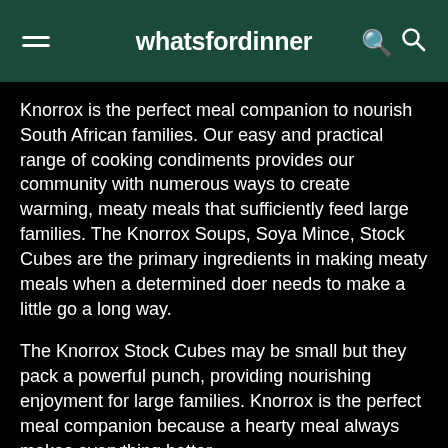whatsfordinner
Knorrox is the perfect meal companion to nourish South African families. Our easy and practical range of cooking condiments provides our community with numerous ways to create warming, meaty meals that sufficiently feed large families. The Knorrox Soups, Soya Mince, Stock Cubes are the primary ingredients in making meaty meals when a determined doer needs to make a little go a long way.
The Knorrox Stock Cubes may be small but they pack a powerful punch, providing nourishing enjoyment for large families. Knorrox is the perfect meal companion because a hearty meal always makes everything better.
Knorrox is Halaal-certified and has a range of stocks, soups, soya minces and spices.